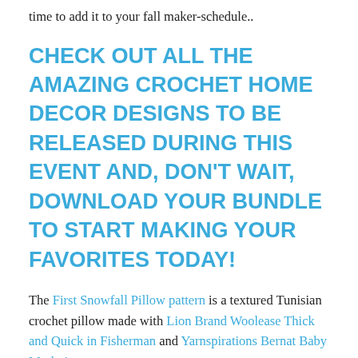time to add it to your fall maker-schedule..
CHECK OUT ALL THE AMAZING CROCHET HOME DECOR DESIGNS TO BE RELEASED DURING THIS EVENT AND, DON'T WAIT, DOWNLOAD YOUR BUNDLE TO START MAKING YOUR FAVORITES TODAY!
The First Snowfall Pillow pattern is a textured Tunisian crochet pillow made with Lion Brand Woolease Thick and Quick in Fisherman and Yarnspirations Bernat Baby Marly in